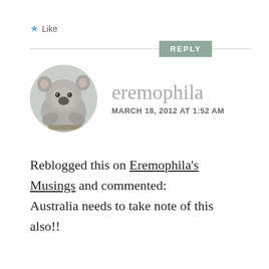★ Like
REPLY
[Figure (photo): Circular avatar photo of a koala bear sitting in a tree]
eremophila
MARCH 18, 2012 AT 1:52 AM
Reblogged this on Eremophila's Musings and commented: Australia needs to take note of this also!!